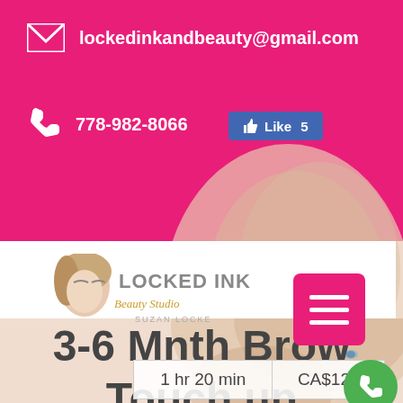lockedinkandbeauty@gmail.com
778-982-8066
[Figure (screenshot): Facebook Like button showing Like 5]
[Figure (logo): Locked Ink Beauty Studio by Suzan Locke logo with illustrated woman face and eyebrows]
[Figure (other): Pink hamburger/menu button with three white lines]
[Figure (photo): Background photo of blonde woman face]
3-6 Mnth Brow Touch up
1 hr 20 min
CA$125
[Figure (other): Green circular phone/call button]